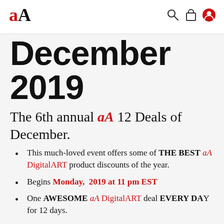aA [logo] with search, bag, and account icons
December 2019
The 6th annual aA 12 Deals of December.
This much-loved event offers some of THE BEST aA DigitalART product discounts of the year.
Begins Monday, 2019 at 11 pm EST
One AWESOME aA DigitalART deal EVERY DAY for 12 days.
There will also be 4 ENCORE DAYS at the end of the event just in case you miss any.